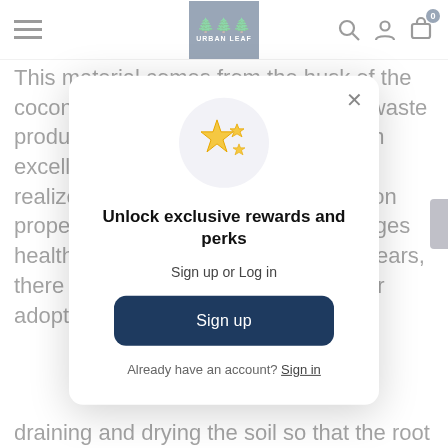Urban Leaf - navigation bar with hamburger menu, logo, search, account, cart (0)
This material comes from the husk of the coconut. Coco coir was treated as a waste product for decades until its use as an excellent potting soil substrate was realized. It has fantastic water retention properties and a texture that encourages healthy root development. In recent years, there has been a shift towards greater adoption
[Figure (screenshot): Modal popup overlay with sparkle star emoji icon, title 'Unlock exclusive rewards and perks', subtitle 'Sign up or Log in', a dark navy 'Sign up' button, and 'Already have an account? Sign in' link. Close X button in top right corner.]
draining and drying the soil so that the root can then